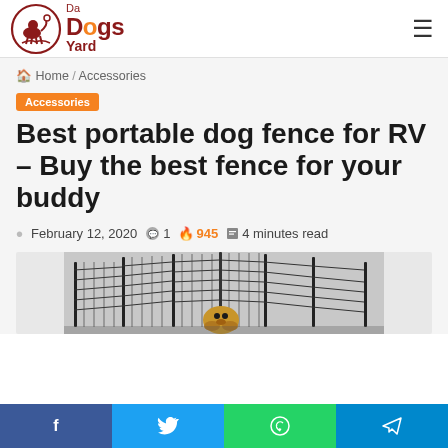Da Dogs Yard
Home / Accessories
Accessories
Best portable dog fence for RV – Buy the best fence for your buddy
February 12, 2020  1  945  4 minutes read
[Figure (photo): A puppy inside a portable metal dog fence/playpen with multiple panels arranged in an octagon shape]
f  t  WhatsApp  Telegram social share buttons